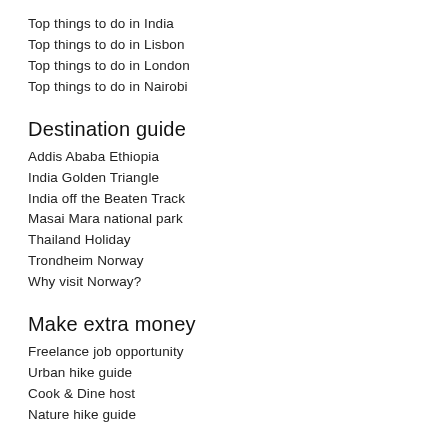Top things to do in India
Top things to do in Lisbon
Top things to do in London
Top things to do in Nairobi
Destination guide
Addis Ababa Ethiopia
India Golden Triangle
India off the Beaten Track
Masai Mara national park
Thailand Holiday
Trondheim Norway
Why visit Norway?
Make extra money
Freelance job opportunity
Urban hike guide
Cook & Dine host
Nature hike guide